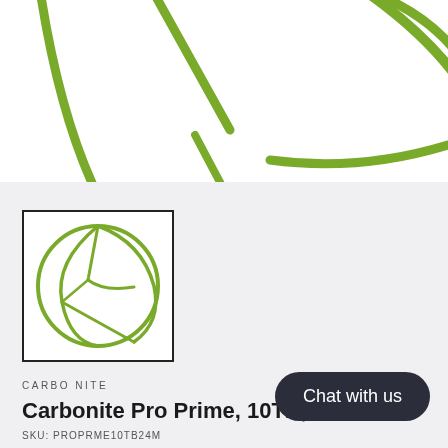[Figure (logo): Carbonite logo graphic — large green arc and line strokes on white background, cropped/zoomed view]
[Figure (logo): Carbonite logo thumbnail in black-bordered box — green circular logo with internal line divisions on white background]
CARBONITE
Carbonite Pro Prime, 10TB,
SKU: PROPRME10TB24M
Chat with us